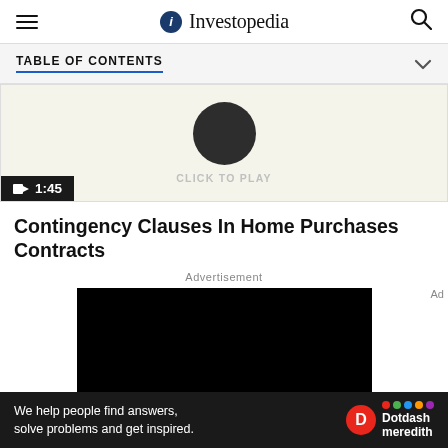Investopedia
TABLE OF CONTENTS
[Figure (screenshot): Video thumbnail showing a dark play button circle and 'CLICK TO PLAY' text on a light background, with a duration badge showing 1:45]
Contingency Clauses In Home Purchases Contracts
Advertisement
[Figure (screenshot): Black video advertisement box]
We help people find answers, solve problems and get inspired. Dotdash meredith